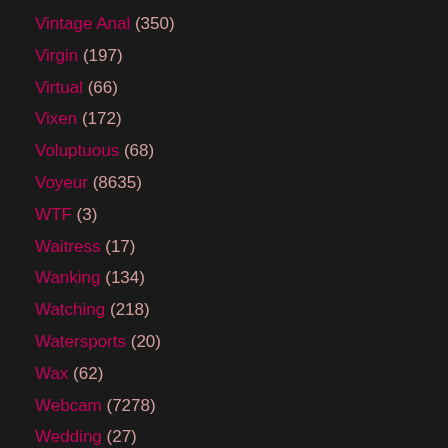Vintage Anal (350)
Virgin (197)
Virtual (66)
Vixen (172)
Voluptuous (68)
Voyeur (8635)
WTF (3)
Waitress (17)
Wanking (134)
Watching (218)
Watersports (20)
Wax (62)
Webcam (7278)
Wedding (27)
Weird (50)
Wet (1019)